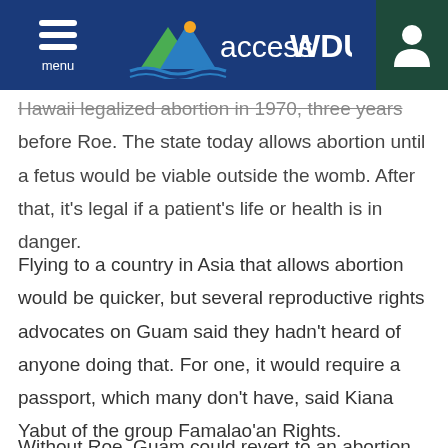accessWDUN — menu
Hawaii legalized abortion in 1970, three years before Roe. The state today allows abortion until a fetus would be viable outside the womb. After that, it's legal if a patient's life or health is in danger.
Flying to a country in Asia that allows abortion would be quicker, but several reproductive rights advocates on Guam said they hadn't heard of anyone doing that. For one, it would require a passport, which many don't have, said Kiana Yabut of the group Famalao'an Rights.
Without Roe, Guam could revert to an abortion ban